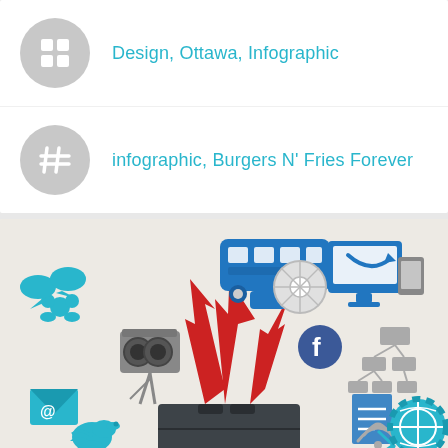Design, Ottawa, Infographic
infographic, Burgers N' Fries Forever
[Figure (infographic): Infographic illustration showing a toolbox/briefcase with red arrows bursting upward, surrounded by various icons: bus, monitor/tablet, film camera, Facebook logo, email envelope, Twitter bird, WiFi, globe with gear, organizational chart, and people/social icons in blue, teal, and gray colors.]